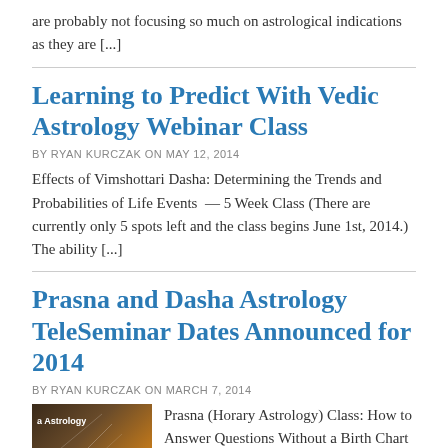are probably not focusing so much on astrological indications as they are [...]
Learning to Predict With Vedic Astrology Webinar Class
BY RYAN KURCZAK ON MAY 12, 2014
Effects of Vimshottari Dasha: Determining the Trends and Probabilities of Life Events — 5 Week Class (There are currently only 5 spots left and the class begins June 1st, 2014.) The ability [...]
Prasna and Dasha Astrology TeleSeminar Dates Announced for 2014
BY RYAN KURCZAK ON MARCH 7, 2014
[Figure (photo): Thumbnail image with text 'a Astrology' on dark brown/orange background with astrological chart lines]
Prasna (Horary Astrology) Class: How to Answer Questions Without a Birth Chart — 4 Week Class (Note: There are two classes announced on this particular post.  The